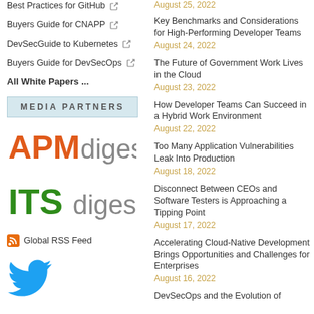Best Practices for GitHub [external link]
Buyers Guide for CNAPP [external link]
DevSecGuide to Kubernetes [external link]
Buyers Guide for DevSecOps [external link]
All White Papers ...
MEDIA PARTNERS
[Figure (logo): APMdigest logo — APM in orange bold, digest in grey sans-serif]
[Figure (logo): ITSdigest logo — ITS in bold green, digest in grey sans-serif]
Global RSS Feed
[Figure (logo): Twitter bird logo in blue]
Key Benchmarks and Considerations for High-Performing Developer Teams
August 24, 2022
The Future of Government Work Lives in the Cloud
August 23, 2022
How Developer Teams Can Succeed in a Hybrid Work Environment
August 22, 2022
Too Many Application Vulnerabilities Leak Into Production
August 18, 2022
Disconnect Between CEOs and Software Testers is Approaching a Tipping Point
August 17, 2022
Accelerating Cloud-Native Development Brings Opportunities and Challenges for Enterprises
August 16, 2022
DevSecOps and the Evolution of